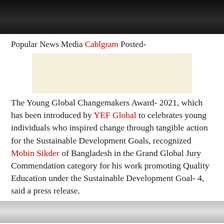[Figure (photo): Top portion of a photo showing a person holding something, dark background]
Popular News Media Cablgram Posted-
[Figure (other): Advertisement or banner block with cream/beige background]
The Young Global Changemakers Award- 2021, which has been introduced by YEF Global to celebrates young individuals who inspired change through tangible action for the Sustainable Development Goals, recognized Mobin Sikder of Bangladesh in the Grand Global Jury Commendation category for his work promoting Quality Education under the Sustainable Development Goal- 4, said a press release.
[Figure (photo): Bottom portion of a photo, light grey/silver tones]